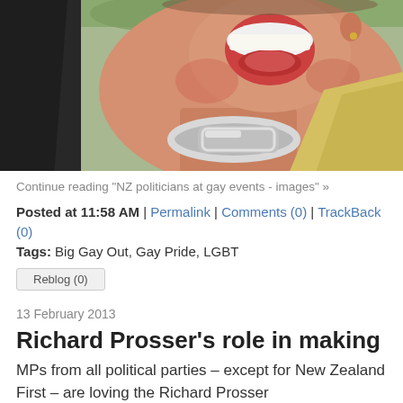[Figure (photo): Close-up photo of a person laughing with mouth open wide, wearing a metallic collar/neck piece. A dark-clothed arm visible on the left, and a person in a yellow shirt partially visible on the right. Green foliage in the background.]
Continue reading "NZ politicians at gay events - images" »
Posted at 11:58 AM | Permalink | Comments (0) | TrackBack (0)
Tags: Big Gay Out, Gay Pride, LGBT
Reblog (0)
13 February 2013
Richard Prosser's role in making mainstream po
MPs from all political parties – except for New Zealand First – are loving the Richard Prosser